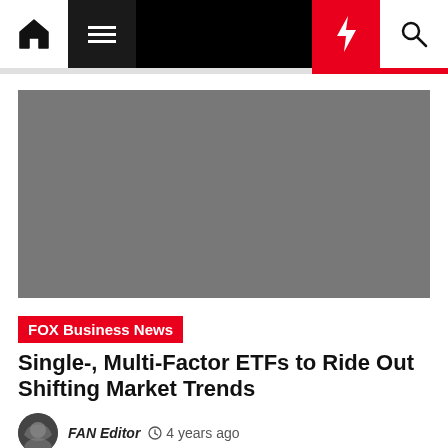Navigation bar with home, menu, lightning/breaking news, and search icons
[Figure (photo): Gray placeholder hero image for article about Single-, Multi-Factor ETFs]
FOX Business News
Single-, Multi-Factor ETFs to Ride Out Shifting Market Trends
FAN Editor  4 years ago